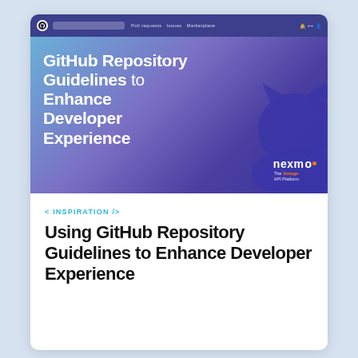[Figure (screenshot): Screenshot of a GitHub/Nexmo blog page showing a hero banner with the title 'GitHub Repository Guidelines to Enhance Developer Experience' and the Nexmo brand logo, displayed inside a browser chrome frame.]
< INSPIRATION />
Using GitHub Repository Guidelines to Enhance Developer Experience